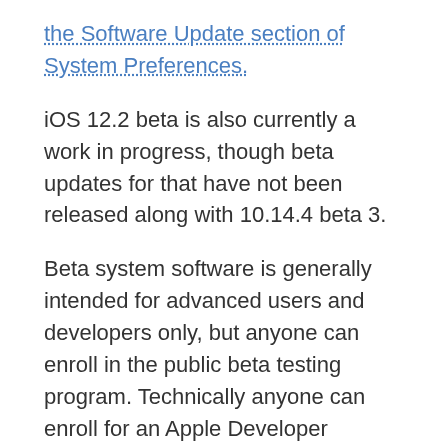the Software Update section of System Preferences.
iOS 12.2 beta is also currently a work in progress, though beta updates for that have not been released along with 10.14.4 beta 3.
Beta system software is generally intended for advanced users and developers only, but anyone can enroll in the public beta testing program. Technically anyone can enroll for an Apple Developer account to receive developer beta versions as well, but doing so requires an annual membership in the Apple Developer program.
Apple usually goes through a variety of beta system software builds before releasing a final version to the general public. Tracking beta releases can therefore be helpful to have a general idea of when a new system software update will be released, perhaps addressing